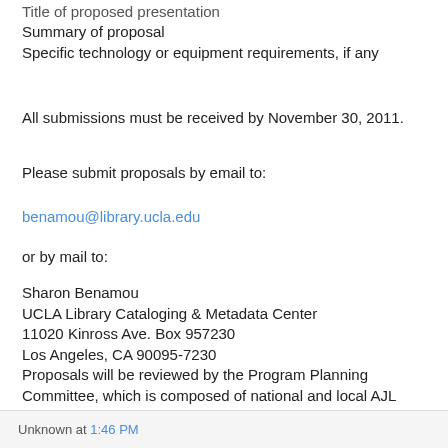Title of proposed presentation
Summary of proposal
Specific technology or equipment requirements, if any
All submissions must be received by November 30, 2011.
Please submit proposals by email to:
benamou@library.ucla.edu
or by mail to:
Sharon Benamou
UCLA Library Cataloging & Metadata Center
11020 Kinross Ave. Box 957230
Los Angeles, CA 90095-7230
Proposals will be reviewed by the Program Planning Committee, which is composed of national and local AJL members. Notification will be made in January, 2012.
Unknown at 1:46 PM